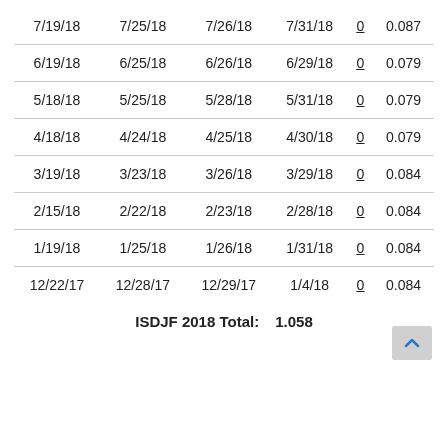| Col1 | Col2 | Col3 | Col4 | Col5 | Col6 |
| --- | --- | --- | --- | --- | --- |
| 7/19/18 | 7/25/18 | 7/26/18 | 7/31/18 | 0 | 0.087 |
| 6/19/18 | 6/25/18 | 6/26/18 | 6/29/18 | 0 | 0.079 |
| 5/18/18 | 5/25/18 | 5/28/18 | 5/31/18 | 0 | 0.079 |
| 4/18/18 | 4/24/18 | 4/25/18 | 4/30/18 | 0 | 0.079 |
| 3/19/18 | 3/23/18 | 3/26/18 | 3/29/18 | 0 | 0.084 |
| 2/15/18 | 2/22/18 | 2/23/18 | 2/28/18 | 0 | 0.084 |
| 1/19/18 | 1/25/18 | 1/26/18 | 1/31/18 | 0 | 0.084 |
| 12/22/17 | 12/28/17 | 12/29/17 | 1/4/18 | 0 | 0.084 |
ISDJF 2018 Total: 1.058